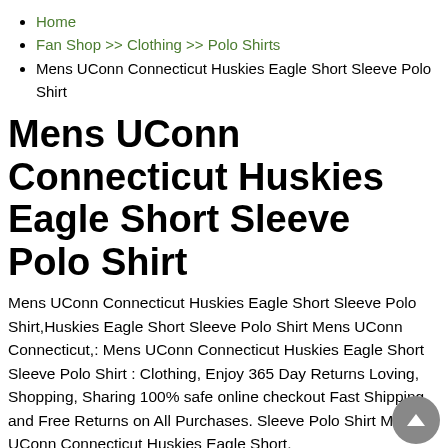Home
Fan Shop >> Clothing >> Polo Shirts
Mens UConn Connecticut Huskies Eagle Short Sleeve Polo Shirt
Mens UConn Connecticut Huskies Eagle Short Sleeve Polo Shirt
Mens UConn Connecticut Huskies Eagle Short Sleeve Polo Shirt,Huskies Eagle Short Sleeve Polo Shirt Mens UConn Connecticut,: Mens UConn Connecticut Huskies Eagle Short Sleeve Polo Shirt : Clothing, Enjoy 365 Day Returns Loving, Shopping, Sharing 100% safe online checkout Fast Shipping and Free Returns on All Purchases. Sleeve Polo Shirt Mens UConn Connecticut Huskies Eagle Short.
facebook
twitter
linkedin